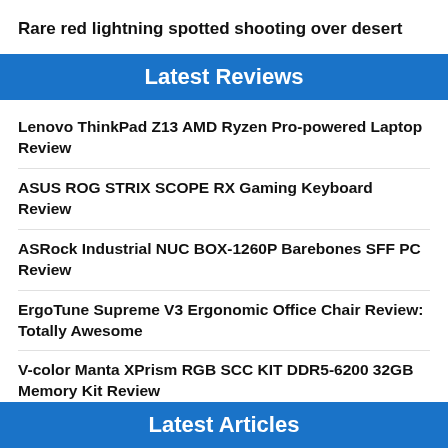Rare red lightning spotted shooting over desert
Latest Reviews
Lenovo ThinkPad Z13 AMD Ryzen Pro-powered Laptop Review
ASUS ROG STRIX SCOPE RX Gaming Keyboard Review
ASRock Industrial NUC BOX-1260P Barebones SFF PC Review
ErgoTune Supreme V3 Ergonomic Office Chair Review: Totally Awesome
V-color Manta XPrism RGB SCC KIT DDR5-6200 32GB Memory Kit Review
Latest Articles